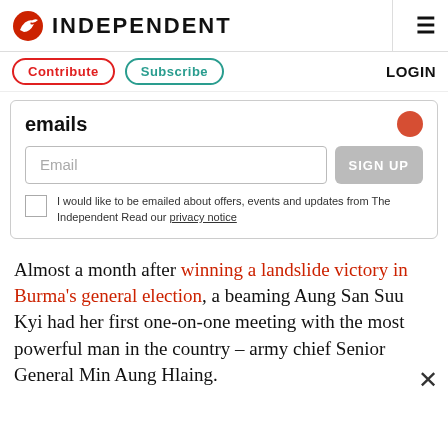INDEPENDENT
Contribute  Subscribe  LOGIN
emails
Email  SIGN UP
I would like to be emailed about offers, events and updates from The Independent Read our privacy notice
Almost a month after winning a landslide victory in Burma's general election, a beaming Aung San Suu Kyi had her first one-on-one meeting with the most powerful man in the country – army chief Senior General Min Aung Hlaing.